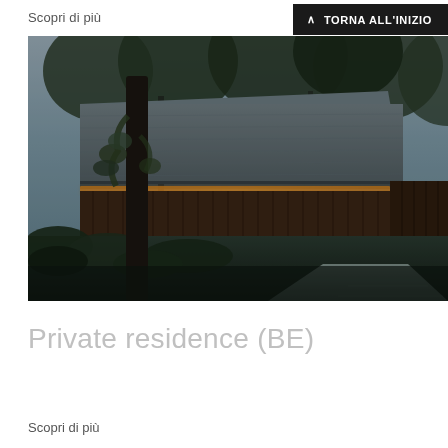Scopri di più
∧  TORNA ALL'INIZIO
[Figure (photo): Exterior photograph of a modernist private residence at dusk. A large concrete box volume floats above a lower wooden-clad base with warm LED strip lighting underneath. A tall tree with ivy is in the foreground, surrounded by lush vegetation. Trees visible in background against an overcast sky.]
Private residence (BE)
Scopri di più